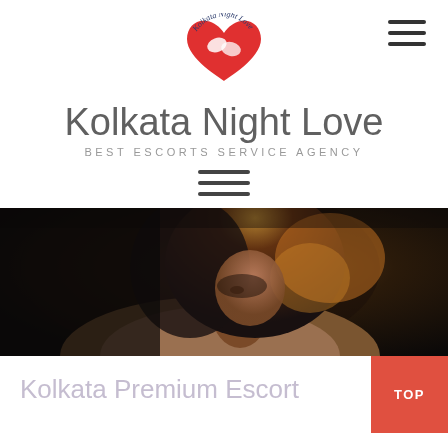[Figure (logo): Kolkata Night Love logo with red heart and hands, cursive text around it]
Kolkata Night Love
BEST ESCORTS SERVICE AGENCY
[Figure (other): Three horizontal lines hamburger menu icon]
[Figure (photo): Dark atmospheric photo of a woman with dark hair lit from behind]
Kolkata Premium Escort
[Figure (other): TOP button in red/orange square]